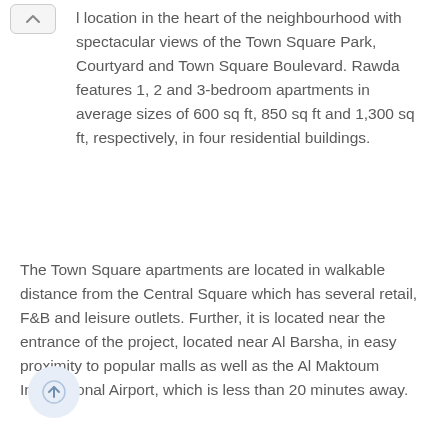…l location in the heart of the neighbourhood with spectacular views of the Town Square Park, Courtyard and Town Square Boulevard. Rawda features 1, 2 and 3-bedroom apartments in average sizes of 600 sq ft, 850 sq ft and 1,300 sq ft, respectively, in four residential buildings.
The Town Square apartments are located in walkable distance from the Central Square which has several retail, F&B and leisure outlets. Further, it is located near the entrance of the project, located near Al Barsha, in easy proximity to popular malls as well as the Al Maktoum International Airport, which is less than 20 minutes away.